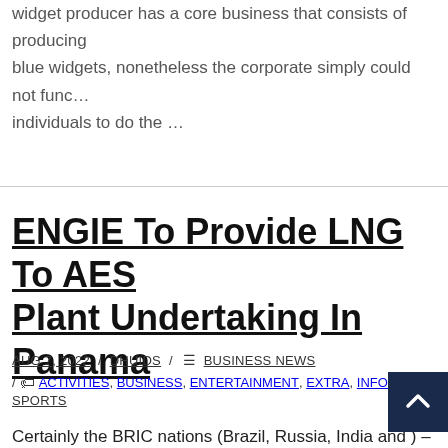widget producer has a core business that consists of producing blue widgets, nonetheless the corporate simply could not func… individuals to do the …
ENGIE To Provide LNG To AES Plant Undertaking In Panama
AUG 7, 2022 / DHUIDS / BUSINESS NEWS / ACTIVITIES, BUSINESS, ENTERTAINMENT, EXTRA, INFORMATION, JAP… SPORTS
Certainly the BRIC nations (Brazil, Russia, India and …) – largest rising economies, have huge economic and investmen…